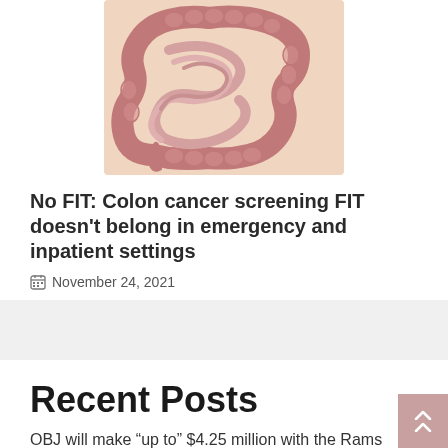[Figure (illustration): Medical illustration of the human large and small intestines (colon anatomy), showing pink/mauve colored intestinal tract on a light skin-tone background.]
No FIT: Colon cancer screening FIT doesn't belong in emergency and inpatient settings
November 24, 2021
Recent Posts
OBJ will make “up to” $4.25 million with the Rams
Your morning cup of coffee can affect your heart’s